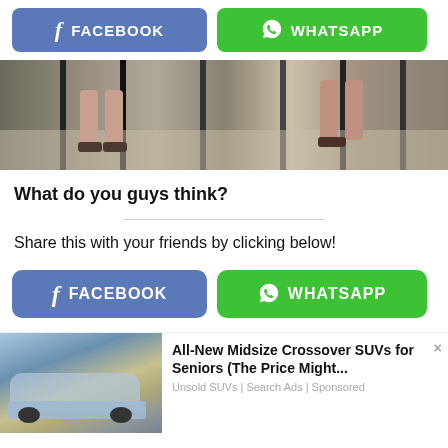[Figure (screenshot): Top share buttons row: Facebook (blue) and WhatsApp (green)]
[Figure (photo): Photo showing people's legs and feet seated at chairs on a patio or outdoor surface]
What do you guys think?
Share this with your friends by clicking below!
[Figure (screenshot): Second share buttons row: Facebook (blue) and WhatsApp (green)]
[Figure (screenshot): Advertisement: All-New Midsize Crossover SUVs for Seniors (The Price Might... Unsold SUVs | Search Ads | Sponsored]